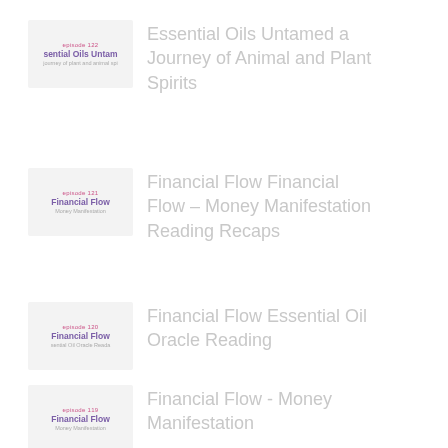[Figure (illustration): Podcast episode thumbnail for episode 122, Essential Oils Untamed, journey of plant and animal spirits]
Essential Oils Untamed a Journey of Animal and Plant Spirits
[Figure (illustration): Podcast episode thumbnail for episode 121, Financial Flow, Money Manifestation]
Financial Flow Financial Flow – Money Manifestation Reading Recaps
[Figure (illustration): Podcast episode thumbnail for episode 120, Financial Flow, Essential Oil Oracle Reading]
Financial Flow Essential Oil Oracle Reading
[Figure (illustration): Podcast episode thumbnail for episode 119, Financial Flow, Money Manifestation]
Financial Flow - Money Manifestation